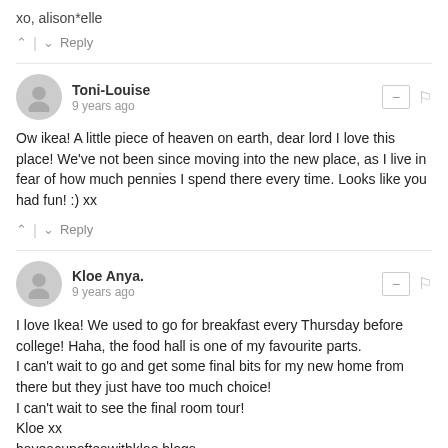xo, alison*elle
^ | v  Reply
Toni-Louise
9 years ago
Ow ikea! A little piece of heaven on earth, dear lord I love this place! We've not been since moving into the new place, as I live in fear of how much pennies I spend there every time. Looks like you had fun! :) xx
^ | v  Reply
Kloe Anya.
9 years ago
I love Ikea! We used to go for breakfast every Thursday before college! Haha, the food hall is one of my favourite parts.
I can't wait to go and get some final bits for my new home from there but they just have too much choice!
I can't wait to see the final room tour!
Kloe xx
haveacupofteawithkloe.blogs...
^ | v  Reply